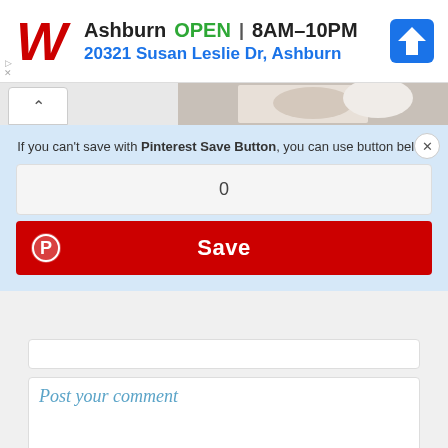[Figure (screenshot): Walgreens ad banner showing logo, Ashburn store open 8AM-10PM, address 20321 Susan Susan Leslie Dr Ashburn, navigation icon]
[Figure (screenshot): Product image strip with chevron collapse button and partial handbag thumbnail]
If you can't save with Pinterest Save Button, you can use button below
0
Save
Post your comment